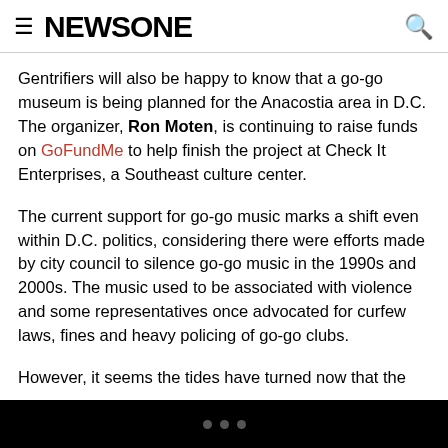NEWSONE
Gentrifiers will also be happy to know that a go-go museum is being planned for the Anacostia area in D.C. The organizer, Ron Moten, is continuing to raise funds on GoFundMe to help finish the project at Check It Enterprises, a Southeast culture center.
The current support for go-go music marks a shift even within D.C. politics, considering there were efforts made by city council to silence go-go music in the 1990s and 2000s. The music used to be associated with violence and some representatives once advocated for curfew laws, fines and heavy policing of go-go clubs.
However, it seems the tides have turned now that the